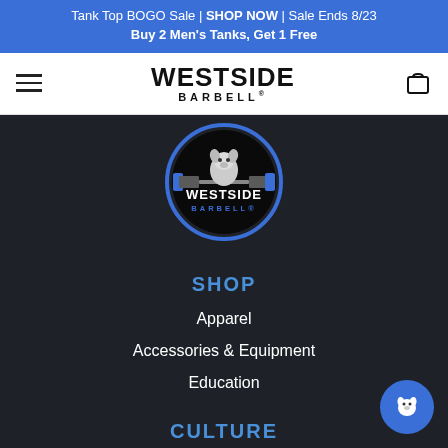Tank Top BOGO Sale | SHOP NOW | Sale Ends 8/23 Buy 2 Men's Tanks, Get 1 Free
WESTSIDE BARBELL
[Figure (logo): Westside Barbell circular logo with bulldog lifting barbells, blue ring border, white and blue text on dark background]
SHOP
Apparel
Accessories & Equipment
Education
CULTURE